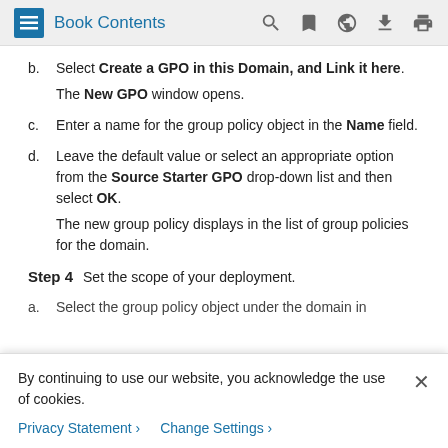Book Contents
b. Select Create a GPO in this Domain, and Link it here. The New GPO window opens.
c. Enter a name for the group policy object in the Name field.
d. Leave the default value or select an appropriate option from the Source Starter GPO drop-down list and then select OK. The new group policy displays in the list of group policies for the domain.
Step 4 Set the scope of your deployment.
a. Select the group policy object under the domain in
By continuing to use our website, you acknowledge the use of cookies.
Privacy Statement > Change Settings >